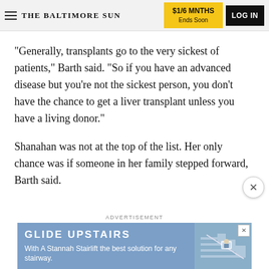THE BALTIMORE SUN  |  $1/6 MNTHS Ends Soon  |  LOG IN
"Generally, transplants go to the very sickest of patients," Barth said. "So if you have an advanced disease but you're not the sickest person, you don't have the chance to get a liver transplant unless you have a living donor."
Shanahan was not at the top of the list. Her only chance was if someone in her family stepped forward, Barth said.
[Figure (screenshot): Advertisement banner for Glide Upstairs Stannah Stairlift with blue background, headline 'GLIDE UPSTAIRS', subtext 'With A Stannah Stairlift the best solution for any stairway.' and a product image on the right.]